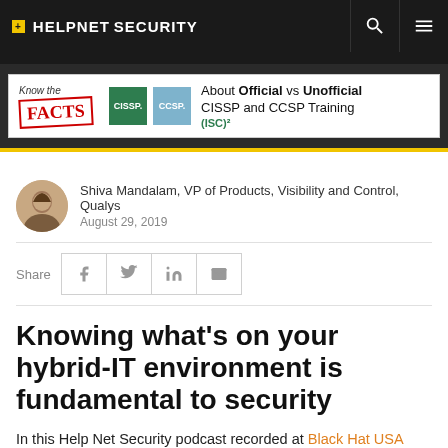+ HELPNETSECURITY
[Figure (illustration): Advertisement banner for ISC2 CISSP and CCSP training: 'Know the FACTS About Official vs Unofficial CISSP and CCSP Training']
Shiva Mandalam, VP of Products, Visibility and Control, Qualys
August 29, 2019
Share
Knowing what's on your hybrid-IT environment is fundamental to security
In this Help Net Security podcast recorded at Black Hat USA 2019, Shiva Mandalam, VP of Products, Visibility and Control at Qualys, talks about the importance of visibility